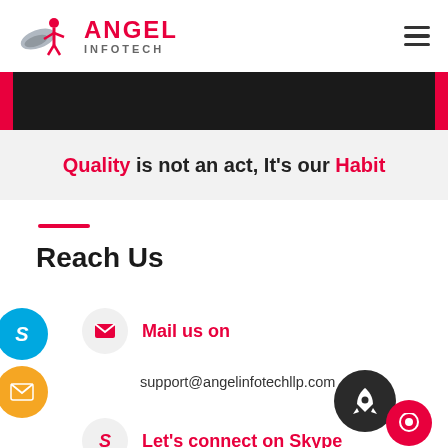[Figure (logo): Angel Infotech logo with stylized figure and wings, red text ANGEL and gray INFOTECH]
[Figure (other): Dark banner strip with red side tabs at top and bottom edges]
Quality is not an act, It's our Habit
Reach Us
Mail us on
support@angelinfotechllp.com
Let's connect on Skype